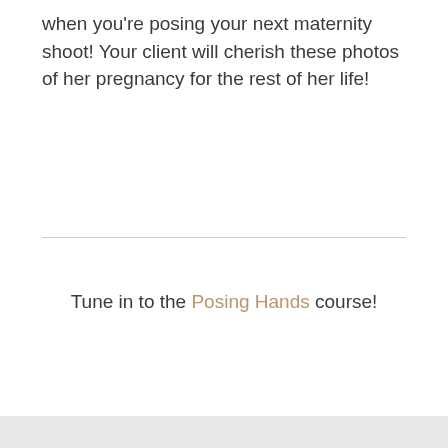when you're posing your next maternity shoot! Your client will cherish these photos of her pregnancy for the rest of her life!
Tune in to the Posing Hands course!